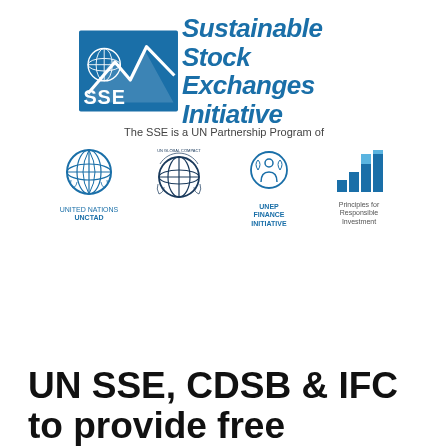[Figure (logo): Sustainable Stock Exchanges (SSE) Initiative logo with globe icon and mountain/arrow graphic in blue]
The SSE is a UN Partnership Program of
[Figure (logo): United Nations UNCTAD logo]
[Figure (logo): UN Global Compact logo]
[Figure (logo): UNEP Finance Initiative logo]
[Figure (logo): Principles for Responsible Investment logo]
UN SSE, CDSB & IFC to provide free